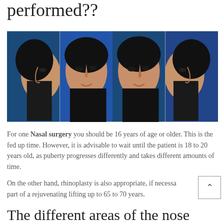performed??
[Figure (photo): Four-panel before-and-after rhinoplasty photo showing a woman's nose from left profile, front three-quarter, front three-quarter, and right profile views against a blue background.]
For one Nasal surgery you should be 16 years of age or older. This is the fed up time. However, it is advisable to wait until the patient is 18 to 20 years old, as puberty progresses differently and takes different amounts of time.
On the other hand, rhinoplasty is also appropriate, if necessary as part of a rejuvenating lifting up to 65 to 70 years.
The different areas of the nose